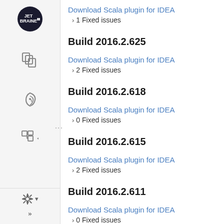Download Scala plugin for IDEA
› 1 Fixed issues
Build 2016.2.625
Download Scala plugin for IDEA
› 2 Fixed issues
Build 2016.2.618
Download Scala plugin for IDEA
› 0 Fixed issues
Build 2016.2.615
Download Scala plugin for IDEA
› 2 Fixed issues
Build 2016.2.611
Download Scala plugin for IDEA
› 0 Fixed issues